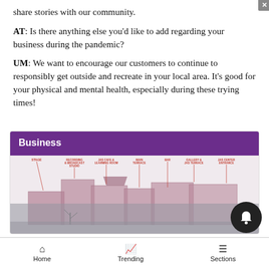share stories with our community.
AT: Is there anything else you'd like to add regarding your business during the pandemic?
UM: We want to encourage our customers to continue to responsibly get outside and recreate in your local area. It's good for your physical and mental health, especially during these trying times!
Business
[Figure (photo): Architectural diagram/photo of a building with labeled sections including Stage, Recording & Broadcast Studio, JAS Cafe & Learning Room, Main Terrace, Bar, Gallery & JAS Terrace, JAS Center Entrance]
Home   Trending   Sections